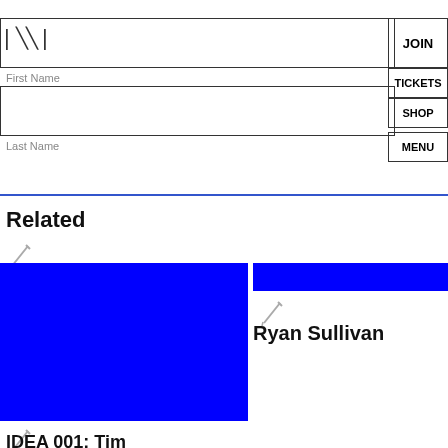Name *
English  Español  Kreyol
JOIN
First Name
TICKETS
SHOP
Last Name
MENU
Related
[Figure (illustration): Blue rectangle image placeholder on left]
[Figure (illustration): Blue rectangle image placeholder on right]
Ryan Sullivan
IDEA 001: Tim